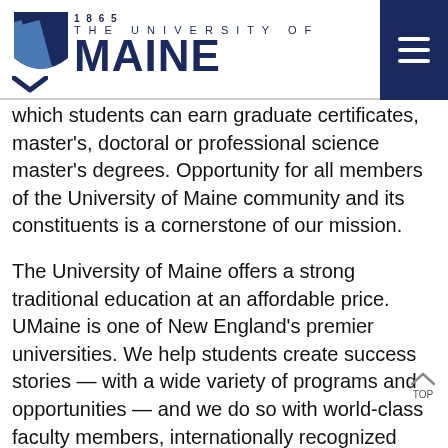1865 THE UNIVERSITY OF MAINE
which students can earn graduate certificates, master's, doctoral or professional science master's degrees. Opportunity for all members of the University of Maine community and its constituents is a cornerstone of our mission.
The University of Maine offers a strong traditional education at an affordable price. UMaine is one of New England's premier universities. We help students create success stories — with a wide variety of programs and opportunities — and we do so with world-class faculty members, internationally recognized research, first-rate facilities, and a friendly, safe atmosphere located near some of the best year-round recreation sites in the nation.